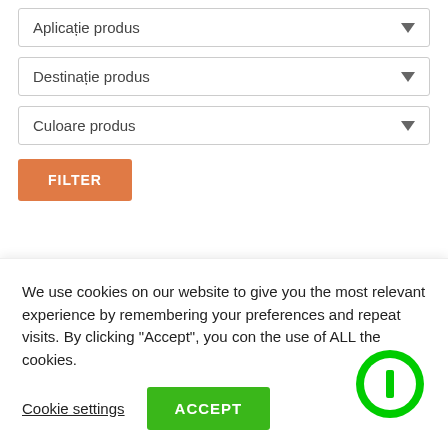Aplicație produs
Destinație produs
Culoare produs
FILTER
Articole recente
We use cookies on our website to give you the most relevant experience by remembering your preferences and repeat visits. By clicking “Accept”, you con the use of ALL the cookies.
Cookie settings
ACCEPT